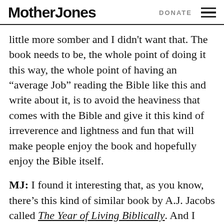Mother Jones  DONATE
little more somber and I didn't want that. The book needs to be, the whole point of doing it this way, the whole point of having an “average Job” reading the Bible like this and write about it, is to avoid the heaviness that comes with the Bible and give it this kind of irreverence and lightness and fun that will make people enjoy the book and hopefully enjoy the Bible itself.
MJ: I found it interesting that, as you know, there’s this kind of similar book by A.J. Jacobs called The Year of Living Biblically. And I found it interesting that both you and he identify as Jewish, but you’re not Orthodox, and both these books came out not